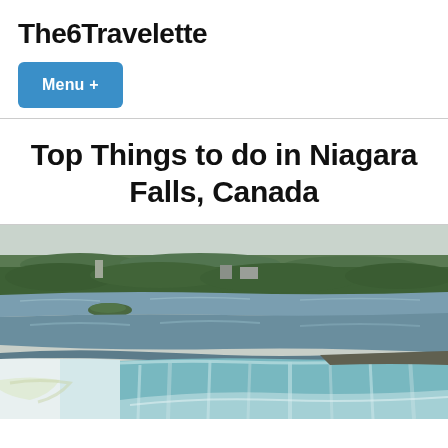The6Travelette
Menu +
Top Things to do in Niagara Falls, Canada
[Figure (photo): Aerial photograph of Niagara Falls (Horseshoe Falls) showing the waterfall, the Niagara River, and surrounding forested landscape from above]